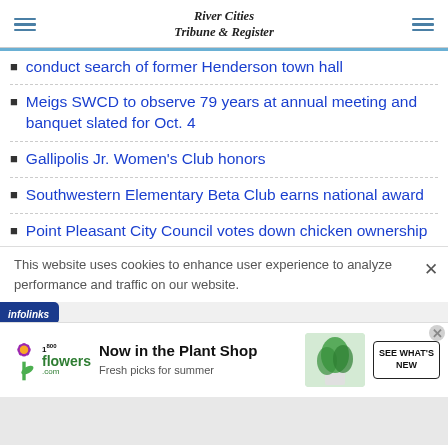River Cities Tribune & Register
conduct search of former Henderson town hall
Meigs SWCD to observe 79 years at annual meeting and banquet slated for Oct. 4
Gallipolis Jr. Women's Club honors
Southwestern Elementary Beta Club earns national award
Point Pleasant City Council votes down chicken ownership
This website uses cookies to enhance user experience to analyze performance and traffic on our website.
[Figure (infographic): 1-800-Flowers.com advertisement: 'Now in the Plant Shop - Fresh picks for summer' with plant image and 'SEE WHAT'S NEW' button]